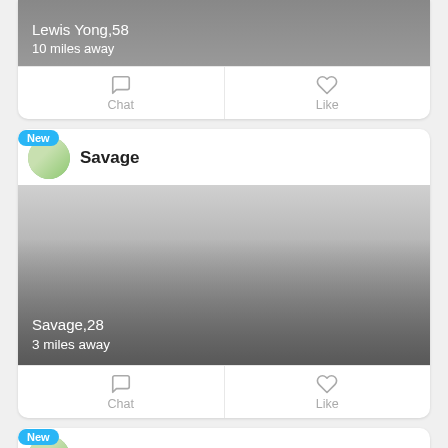[Figure (screenshot): Top partial profile card for Lewis Yong, 58, 10 miles away with Chat and Like buttons]
[Figure (screenshot): Profile card for Savage, 28, 3 miles away with New badge, avatar, photo, Chat and Like buttons]
[Figure (screenshot): Bottom partial profile card for Beauty&Sweetness with New badge]